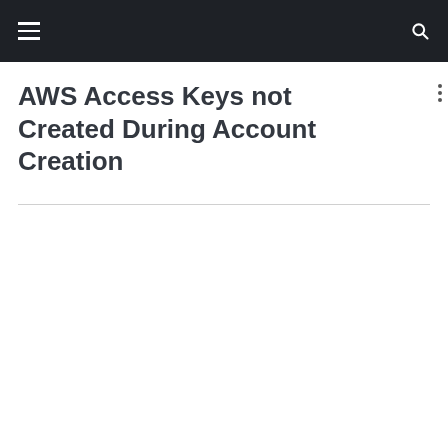Navigation header bar with hamburger menu and search icon
AWS Access Keys not Created During Account Creation